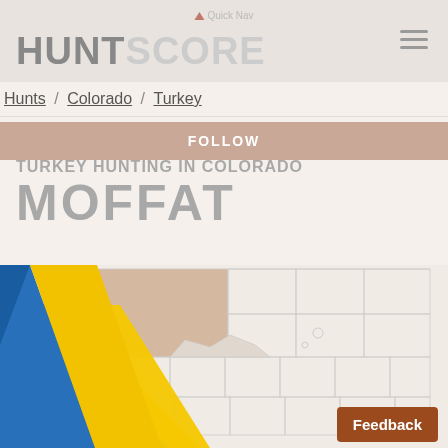HUNTSCORE
Hunts / Colorado / Turkey
FOLLOW
TURKEY HUNTING IN COLORADO MOFFAT
[Figure (map): Map of Colorado with Moffat county highlighted in tan/beige, showing county boundaries. A diagonal blue and yellow stripe overlay appears on the left side of the map.]